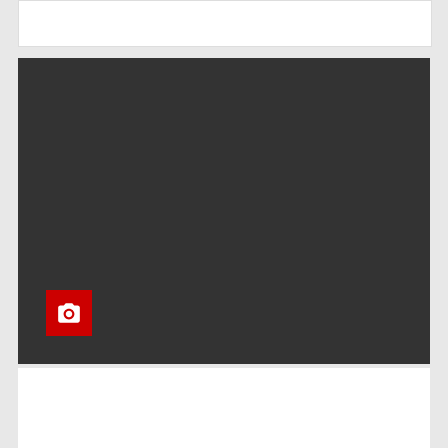[Figure (photo): Dark/black placeholder image block with a red camera icon in the bottom-left corner]
BLOG
10 Productivity tips for